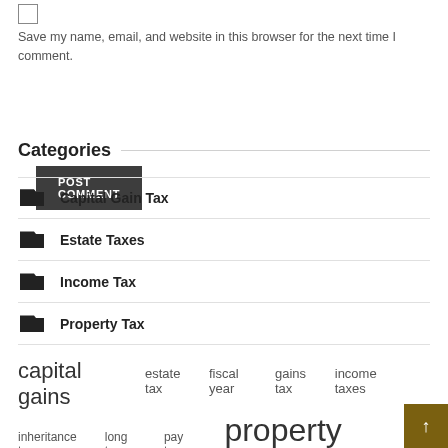Save my name, email, and website in this browser for the next time I comment.
POST COMMENT
Categories
Capital Gain Tax
Estate Taxes
Income Tax
Property Tax
capital gains  estate tax  fiscal year  gains tax  income taxes  inheritance tax  long term  pay taxes  property taxes